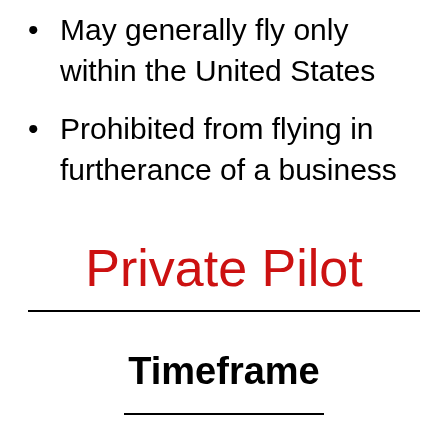May generally fly only within the United States
Prohibited from flying in furtherance of a business
Private Pilot
Timeframe